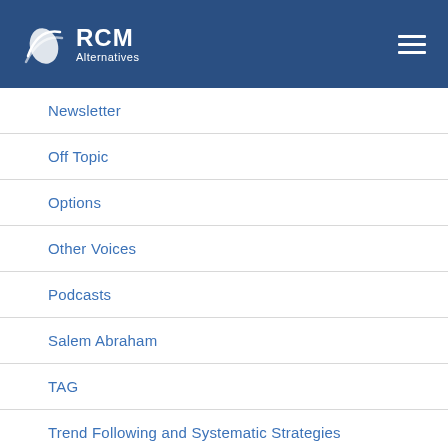RCM Alternatives
Newsletter
Off Topic
Options
Other Voices
Podcasts
Salem Abraham
TAG
Trend Following and Systematic Strategies